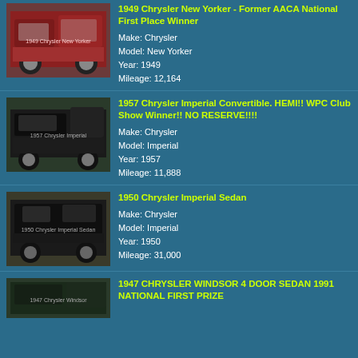[Figure (photo): Red 1949 Chrysler New Yorker classic car, front 3/4 view]
1949 Chrysler New Yorker - Former AACA National First Place Winner
Make: Chrysler
Model: New Yorker
Year: 1949
Mileage: 12,164
[Figure (photo): Black 1957 Chrysler Imperial Convertible, side view]
1957 Chrysler Imperial Convertible. HEMI!! WPC Club Show Winner!! NO RESERVE!!!!
Make: Chrysler
Model: Imperial
Year: 1957
Mileage: 11,888
[Figure (photo): Black 1950 Chrysler Imperial Sedan, rear 3/4 view]
1950 Chrysler Imperial Sedan
Make: Chrysler
Model: Imperial
Year: 1950
Mileage: 31,000
[Figure (photo): 1947 Chrysler Windsor 4 Door Sedan, partial view]
1947 CHRYSLER WINDSOR 4 DOOR SEDAN 1991 NATIONAL FIRST PRIZE